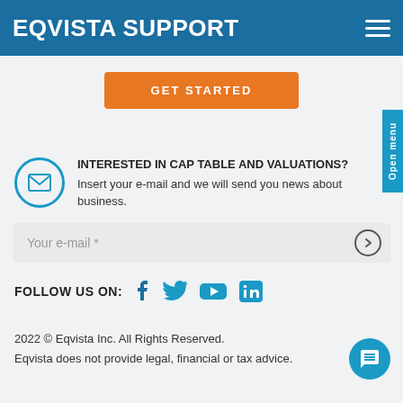EQVISTA SUPPORT
GET STARTED
INTERESTED IN CAP TABLE AND VALUATIONS?
Insert your e-mail and we will send you news about business.
Your e-mail *
FOLLOW US ON:
2022 © Eqvista Inc. All Rights Reserved.
Eqvista does not provide legal, financial or tax advice.